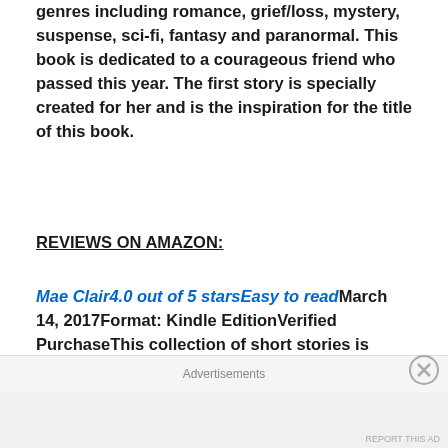A collection of short stories that covers several genres including romance, grief/loss, mystery, suspense, sci-fi, fantasy and paranormal. This book is dedicated to a courageous friend who passed this year. The first story is specially created for her and is the inspiration for the title of this book.
REVIEWS ON AMAZON:
Mae Clair4.0 out of 5 starsEasy to readMarch 14, 2017Format: Kindle EditionVerified PurchaseThis collection of short stories is diverse and engaging, most with a touch of the unusual thrown in. The author's imagination is evident in the range of plots and themes, as well as characters who populate the
Advertisements